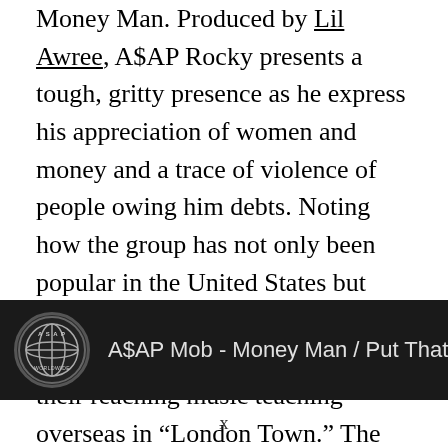Money Man. Produced by Lil Awree, A$AP Rocky presents a tough, gritty presence as he express his appreciation of women and money and a trace of violence of people owing him debts. Noting how the group has not only been popular in the United States but also internationally, the rap group expresses their happiness about their reaching music teaching overseas in “London Town.” The group also mentions how because they have been so successful, they have been able to purchase foreign luxuries like cars and designer clothes.
[Figure (screenshot): YouTube video thumbnail/bar showing A$AP Mob - Money Man / Put That On My Set ( with A$AP Worldwide logo on dark background]